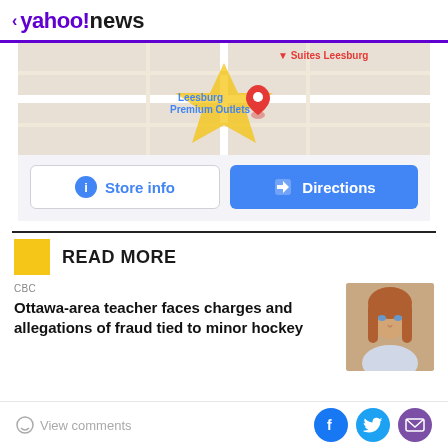< yahoo!news
[Figure (map): Google Maps showing Leesburg Premium Outlets location with red pin marker and Suites Leesburg label]
Store info
Directions
READ MORE
CBC
Ottawa-area teacher faces charges and allegations of fraud tied to minor hockey
[Figure (photo): Portrait photo of a woman with long reddish-brown hair]
View comments